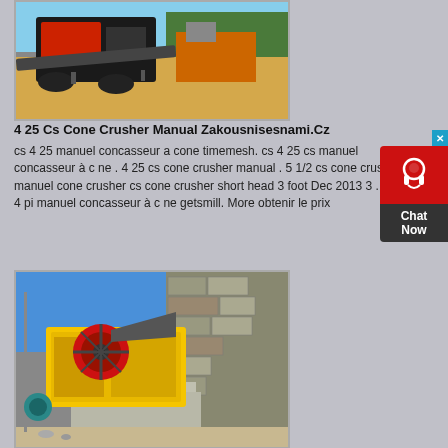[Figure (photo): Mining/quarry equipment – mobile crushing plant on a sandy construction site with orange machinery]
4 25 Cs Cone Crusher Manual Zakousnisesnami.Cz
cs 4 25 manuel concasseur a cone timemesh. cs 4 25 cs manuel concasseur à c ne . 4 25 cs cone crusher manual . 5 1/2 cs cone crusher manuel cone crusher cs cone crusher short head 3 foot Dec 2013 3 . cs 4 pi manuel concasseur à c ne getsmill. More obtenir le prix
[Figure (photo): Yellow jaw crusher machine with red flywheel mounted on concrete blocks at a quarry site with stone wall background]